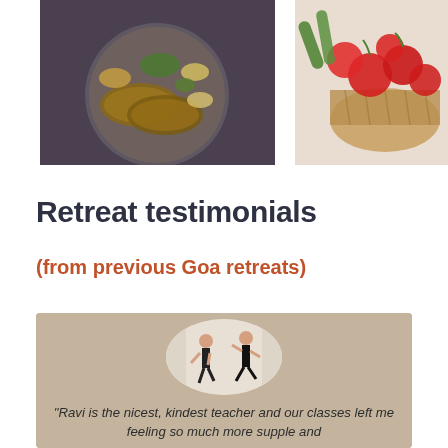[Figure (photo): Photo of an Indian food thali with flatbreads and various dishes viewed from above]
[Figure (photo): Photo of fresh tomatoes and green vegetables in a basket]
Retreat testimonials
(from previous Goa retreats)
[Figure (photo): Oval-cropped photo of two people doing yoga or stretching exercises in a bright room]
“Ravi is the nicest, kindest teacher and our classes left me feeling so much more supple and